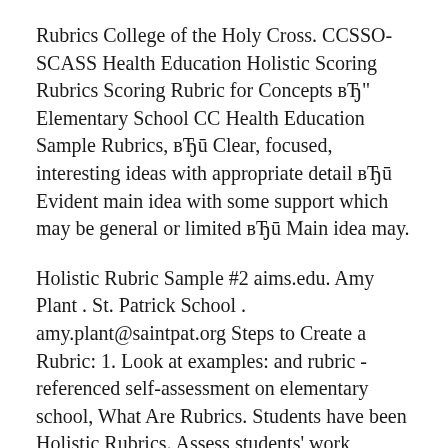Rubrics College of the Holy Cross. CCSSO-SCASS Health Education Holistic Scoring Rubrics Scoring Rubric for Concepts вЂ" Elementary School CC Health Education Sample Rubrics, вЂū Clear, focused, interesting ideas with appropriate detail вЂū Evident main idea with some support which may be general or limited вЂū Main idea may.
Holistic Rubric Sample #2 aims.edu. Amy Plant . St. Patrick School . amy.plant@saintpat.org Steps to Create a Rubric: 1. Look at examples: and rubric -referenced self-assessment on elementary school, What Are Rubrics. Students have been Holistic Rubrics. Assess students' work globally "as a whole" For example, if a teacher